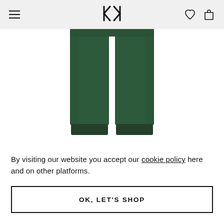[Figure (logo): KK brand logo with mirrored K letters in black]
[Figure (photo): Green sweatpants/joggers product photo showing lower body on white background]
By visiting our website you accept our cookie policy here and on other platforms.
OK, LET'S SHOP